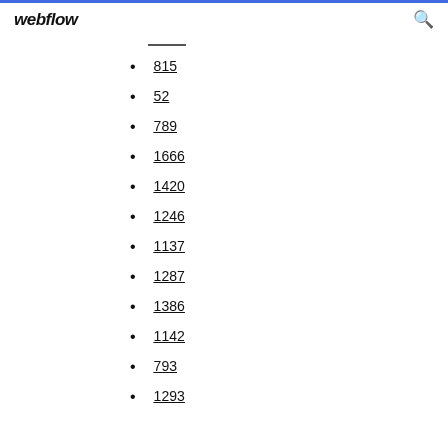webflow
815
52
789
1666
1420
1246
1137
1287
1386
1142
793
1293